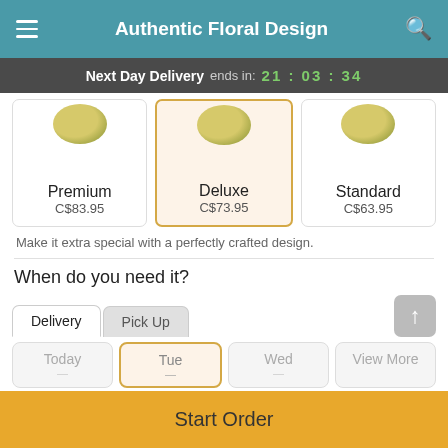Authentic Floral Design
Next Day Delivery ends in: 21:03:34
[Figure (screenshot): Three product cards showing Premium C$83.95, Deluxe C$73.95 (selected/highlighted), Standard C$63.95 with floral arrangement images]
Make it extra special with a perfectly crafted design.
When do you need it?
Delivery  Pick Up
Today   Tue   Wed   View More
Start Order